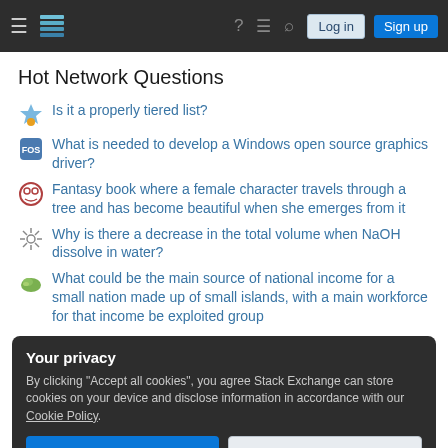Stack Exchange navigation bar with Log in and Sign up buttons
Hot Network Questions
Is it a properly tiered list?
What is needed to develop a Windows open source graphics driver?
Fantasy book where a female character travels through a tree and has become beautiful when she emerges from it
Why is there a decrease in the total volume when NaOH dissolve in water?
What could be the main source of national income for a small nation made up of small islands, with a main workforce for that income be exploited group
Your privacy

By clicking "Accept all cookies", you agree Stack Exchange can store cookies on your device and disclose information in accordance with our Cookie Policy.

Accept all cookies   Customize settings
Can I start a question with a base verb?